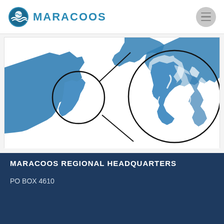MARACOOS
[Figure (map): MARACOOS regional map showing Mid-Atlantic coastal states with a zoom-in circle highlighting the Chesapeake Bay area. Blue landmasses on white background with black circle zoom indicator lines.]
MARACOOS REGIONAL HEADQUARTERS
PO BOX 4610